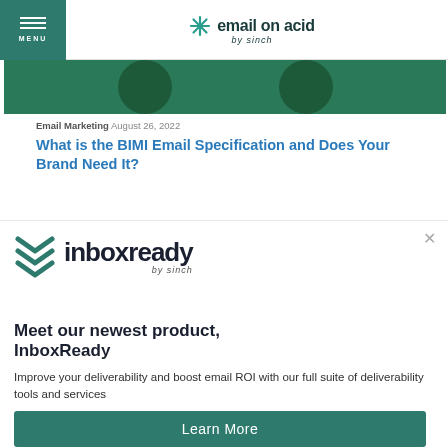MENU | email on acid by sinch
[Figure (photo): Green banner image strip showing partial circular elements on a dark green background]
Email Marketing August 26, 2022
What is the BIMI Email Specification and Does Your Brand Need It?
[Figure (logo): InboxReady by Sinch logo with green chevron/stack marks and wordmark]
Meet our newest product, InboxReady
Improve your deliverability and boost email ROI with our full suite of deliverability tools and services
Learn More